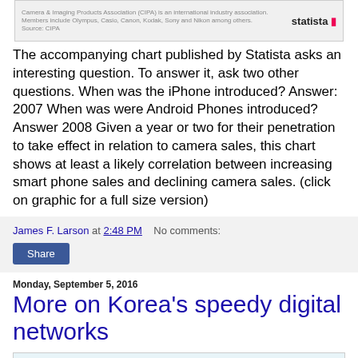[Figure (screenshot): Statista chart thumbnail showing camera sales data with Statista logo in bottom right]
The accompanying chart published by Statista asks an interesting question.  To answer it, ask two other questions.  When was the iPhone introduced? Answer: 2007  When was were Android Phones introduced?  Answer 2008  Given a year or two for their penetration to take effect in relation to camera sales, this chart shows at least a likely correlation between increasing smart phone sales and declining camera sales.  (click on graphic for a full size version)
James F. Larson at 2:48 PM   No comments:
Share
Monday, September 5, 2016
More on Korea's speedy digital networks
[Figure (screenshot): Global Map screenshot showing Korea's digital network coverage]